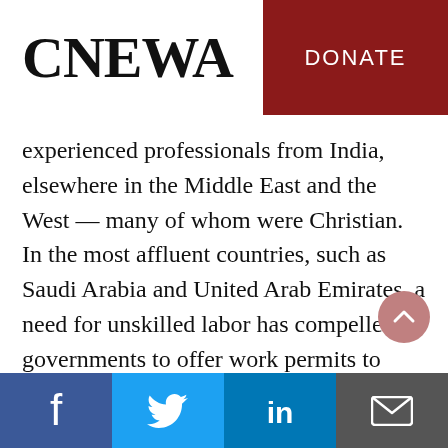CNEWA | DONATE
experienced professionals from India, elsewhere in the Middle East and the West — many of whom were Christian. In the most affluent countries, such as Saudi Arabia and United Arab Emirates, a need for unskilled labor has compelled governments to offer work permits to migrants from Africa, Asia and the Middle East, again, many of whom are Christian. Thus, small yet diverse Christian communities have sprouted up in urban areas.
Social links: Facebook, Twitter, LinkedIn, Email